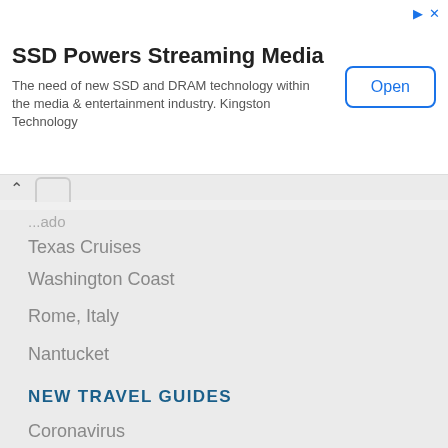[Figure (screenshot): Advertisement banner: SSD Powers Streaming Media by Kingston Technology with an Open button]
...ado
Texas Cruises
Washington Coast
Rome, Italy
Nantucket
NEW TRAVEL GUIDES
Coronavirus
Foil Wings
Sports
Wing Foiling
Dan Taylor
Maui Dinner Cruise
360S